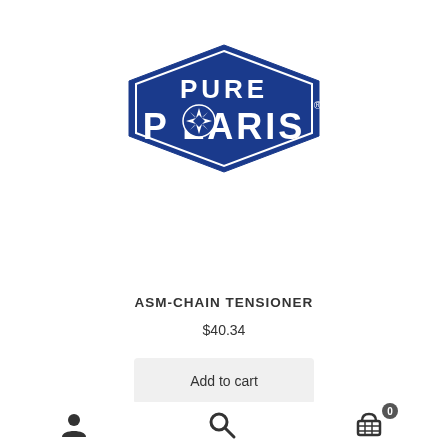[Figure (logo): Pure Polaris logo — blue hexagon-shaped badge with white text 'PURE' on top line and 'POLARIS' on bottom line with a compass star in the O]
ASM-CHAIN TENSIONER
$40.34
Add to cart
User icon | Search icon | Cart icon with badge 0